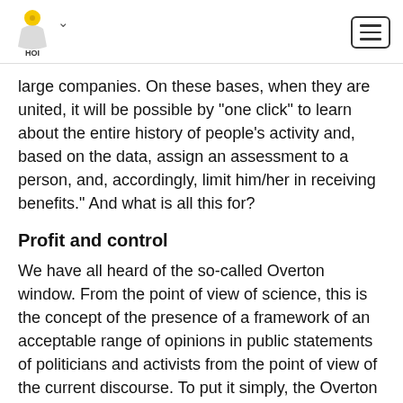[Logo with chevron and hamburger menu]
large companies. On these bases, when they are united, it will be possible by "one click" to learn about the entire history of people's activity and, based on the data, assign an assessment to a person, and, accordingly, limit him/her in receiving benefits." And what is all this for?
Profit and control
We have all heard of the so-called Overton window. From the point of view of science, this is the concept of the presence of a framework of an acceptable range of opinions in public statements of politicians and activists from the point of view of the current discourse. To put it simply, the Overton window indicates a situation